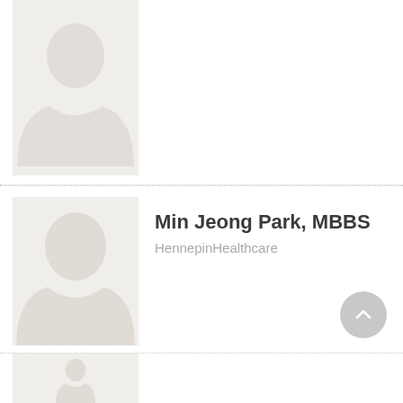[Figure (photo): Partial view of a default avatar placeholder (grey silhouette of a person) cropped at top of page]
[Figure (photo): Default avatar placeholder showing grey silhouette of a person on light beige background]
Min Jeong Park, MBBS
HennepinHealthcare
[Figure (illustration): Scroll-to-top button: circular grey button with upward chevron arrow]
[Figure (photo): Partial view of another default avatar placeholder at bottom of page]